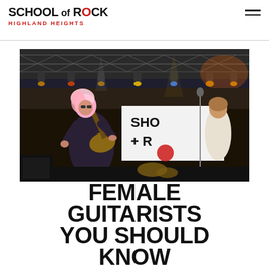SCHOOL OF ROCK HIGHLAND HEIGHTS
[Figure (photo): A female guitarist with pink/white hair performing on stage at an outdoor concert. She is wearing a sparkly/sequined dark outfit and playing an electric guitar. In the background is a large School of Rock banner and stage lighting rigs. Another performer is visible in the right background.]
FEMALE GUITARISTS YOU SHOULD KNOW